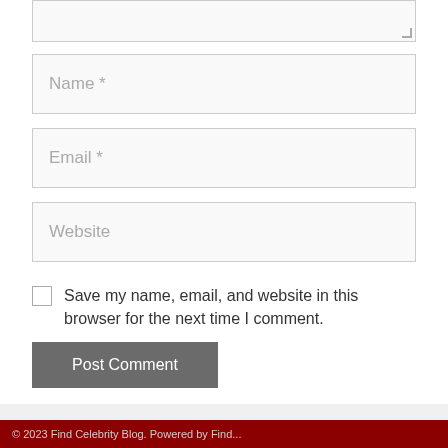[Figure (screenshot): Textarea input stub (partially visible at top)]
Name *
Email *
Website
Save my name, email, and website in this browser for the next time I comment.
Post Comment
© 2023 Find Celebrity Blog. Powered by Find...